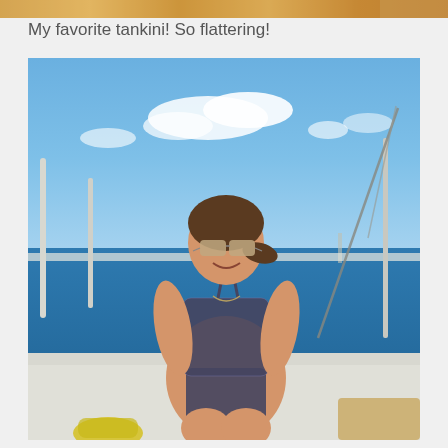[Figure (photo): Partial top strip of sandy/warm-toned image, cropped at the top of the page]
My favorite tankini! So flattering!
[Figure (photo): Woman in a patterned tankini/two-piece swimsuit sitting on the deck of a sailboat, smiling, wearing mirrored sunglasses, with blue ocean water and partly cloudy sky in the background. White boat railing and rigging wire visible.]